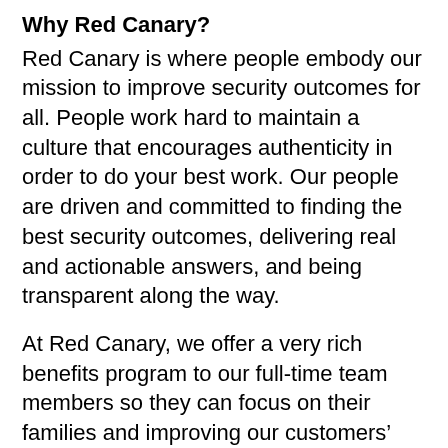Why Red Canary?
Red Canary is where people embody our mission to improve security outcomes for all. People work hard to maintain a culture that encourages authenticity in order to do your best work. Our people are driven and committed to finding the best security outcomes, delivering real and actionable answers, and being transparent along the way.
At Red Canary, we offer a very rich benefits program to our full-time team members so they can focus on their families and improving our customers’ security. For a full list of benefits, please review our Benefits Summary: https://resource.redcanary.com/rs/003-YRU-314/images/BenefitsSummary_2022_RedCanary.pdf
Individuals seeking employment at Red Canary are